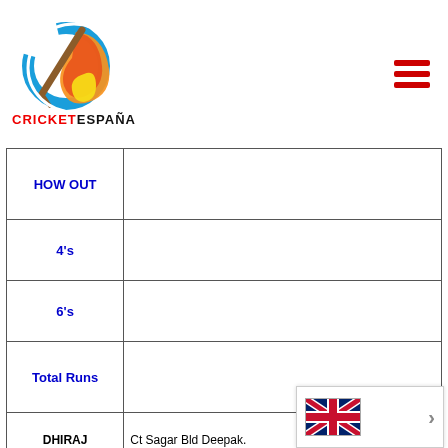[Figure (logo): Cricket España logo with cricket bat and ball graphic above the text CRICKETESPAÑA]
|  | HOW OUT | 4's | 6's | Total Runs |
| --- | --- | --- | --- | --- |
| DHIRAJ | Ct Sagar Bld Deepak. | 3 |  |  |